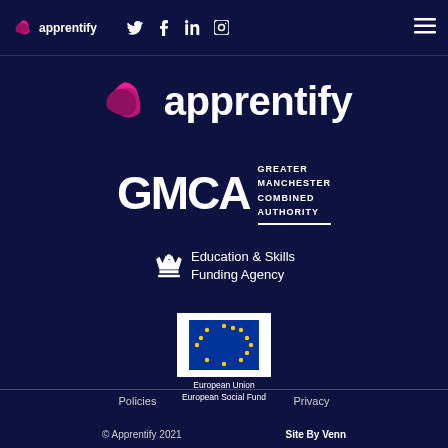apprentify — Twitter, Facebook, LinkedIn, Instagram icons — hamburger menu
[Figure (logo): Apprentify logo: pink/magenta swirl icon followed by the word 'apprentify' in white bold text]
[Figure (logo): GMCA logo: large white 'GMCA' letters with 'GREATER MANCHESTER COMBINED AUTHORITY' stacked text to the right with underline]
[Figure (logo): Education & Skills Funding Agency logo: crown/crest emblem with text 'Education & Skills Funding Agency']
[Figure (logo): European Union European Social Fund logo: white rectangle with EU stars circle, text below 'European Union European Social Fund']
Policies | Privacy
© Apprentify 2021 | Site By Venn